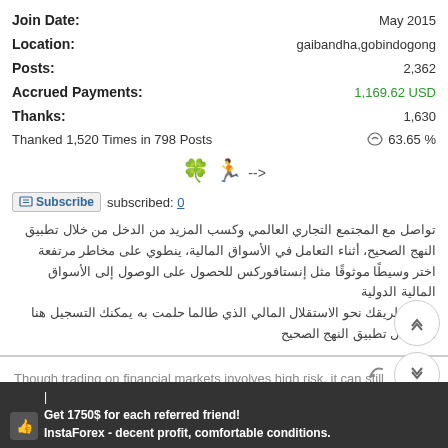| Field | Value |
| --- | --- |
| Join Date: | May 2015 |
| Location: | gaibandha,gobindogong |
| Posts: | 2,362 |
| Accrued Payments: | 1,169.62 USD |
| Thanks: | 1,630 |
| Thanked 1,520 Times in 798 Posts | 63.65 % |
[Figure (illustration): Two emoji icons: a green clover/flower and an orange running man, followed by arrow text -->]
Subscribe  subscribed: 0
Arabic text paragraph (RTL)
Though trading on financial markets involves high risk, it can still generate extra income in case you apply the right approach. By choosing a reliable broker such as InstaForex you get access to the international financial markets and open your way towards financial independence. You can sign up here.
Get 1750$ for each referred friend! InstaForex - decent profit, comfortable conditions.